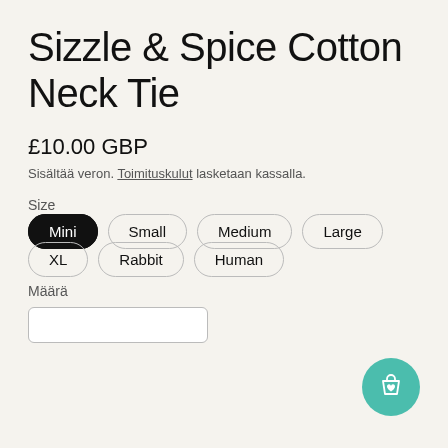Sizzle & Spice Cotton Neck Tie
£10.00 GBP
Sisältää veron. Toimituskulut lasketaan kassalla.
Size
Mini (selected)
Small
Medium
Large
XL
Rabbit
Human
Määrä